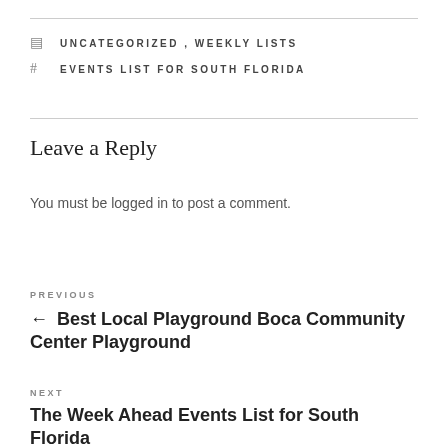UNCATEGORIZED, WEEKLY LISTS
EVENTS LIST FOR SOUTH FLORIDA
Leave a Reply
You must be logged in to post a comment.
PREVIOUS
← Best Local Playground Boca Community Center Playground
NEXT
The Week Ahead Events List for South Florida